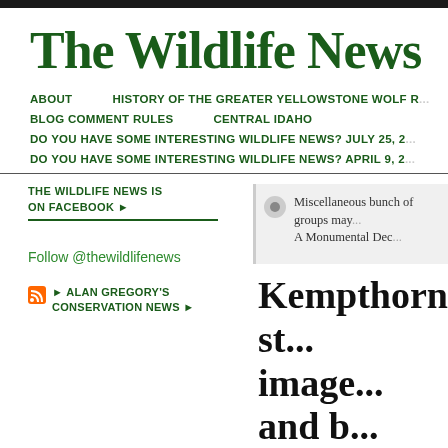The Wildlife News
ABOUT   HISTORY OF THE GREATER YELLOWSTONE WOLF R...   BLOG COMMENT RULES   CENTRAL IDAHO   DO YOU HAVE SOME INTERESTING WILDLIFE NEWS? JULY 25, 2...   DO YOU HAVE SOME INTERESTING WILDLIFE NEWS? APRIL 9, 2...
THE WILDLIFE NEWS IS ON FACEBOOK ▶
Miscellaneous bunch of groups may...   A Monumental Dec...
Follow @thewildlifenews
▶ ALAN GREGORY'S CONSERVATION NEWS ▶
Kempthorne st... image... and b...